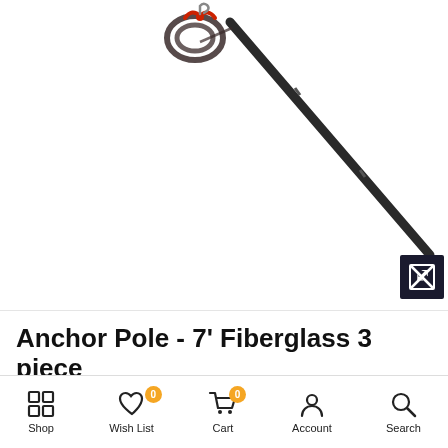[Figure (photo): Product photo of an anchor pole - 7 foot fiberglass 3-piece pole shown diagonally with rope coil attached at top, on white background. Expand icon button in bottom right corner.]
Anchor Pole - 7' Fiberglass 3 piece
$59.99 $44.99
Shop | Wish List 0 | Cart 0 | Account | Search